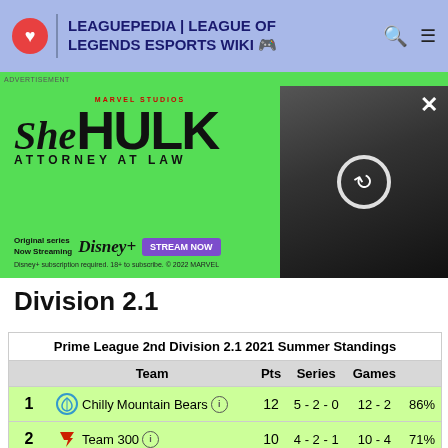LEAGUEPEDIA | LEAGUE OF LEGENDS ESPORTS WIKI
[Figure (screenshot): She-Hulk Attorney at Law advertisement banner for Disney+ streaming]
Division 2.1
|  | Team | Pts | Series | Games |  |
| --- | --- | --- | --- | --- | --- |
| 1 | Chilly Mountain Bears | 12 | 5 - 2 - 0 | 12 - 2 | 86% |
| 2 | Team 300 | 10 | 4 - 2 - 1 | 10 - 4 | 71% |